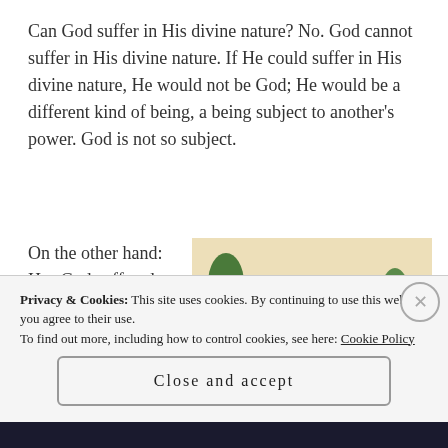Can God suffer in His divine nature? No. God cannot suffer in His divine nature. If He could suffer in His divine nature, He would not be God; He would be a different kind of being, a being subject to another's power. God is not so subject.
On the other hand: Has God suffered
[Figure (illustration): A religious painting depicting a bishop or saint in red and gold robes wearing a mitre, set against a landscape with trees and buildings.]
Privacy & Cookies: This site uses cookies. By continuing to use this website, you agree to their use.
To find out more, including how to control cookies, see here: Cookie Policy
Close and accept